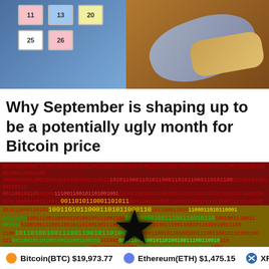[Figure (illustration): Illustration of a cartoon hand writing on a calendar with colored sticky notes, showing dates in the 20s range.]
Why September is shaping up to be a potentially ugly month for Bitcoin price
[Figure (illustration): Digital binary code overlay on a Ghana flag (red, gold, green horizontal bands with black star in center), representing cryptocurrency or digital finance in Africa.]
Bitcoin(BTC) $19,973.77   Ethereum(ETH) $1,475.15   XRP